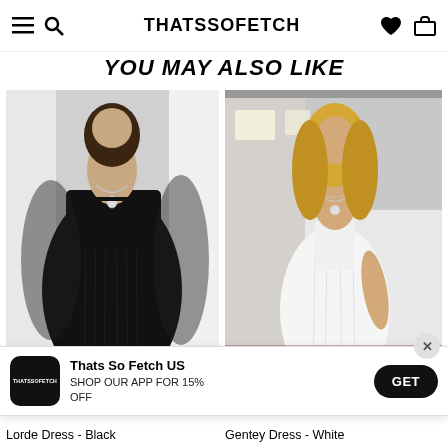THATSSOFETCH
YOU MAY ALSO LIKE
[Figure (photo): Model wearing a black ruched mini dress with sheer long sleeves]
[Figure (photo): Blonde model wearing a white ruched mini dress with spaghetti straps]
Thats So Fetch US — SHOP OUR APP FOR 15% OFF — GET
Lorde Dress - Black
Gentey Dress - White